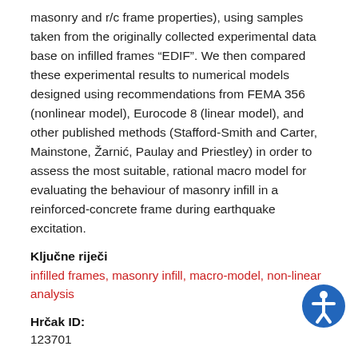masonry and r/c frame properties), using samples taken from the originally collected experimental data base on infilled frames “EDIF”. We then compared these experimental results to numerical models designed using recommendations from FEMA 356 (nonlinear model), Eurocode 8 (linear model), and other published methods (Stafford-Smith and Carter, Mainstone, Žarnić, Paulay and Priestley) in order to assess the most suitable, rational macro model for evaluating the behaviour of masonry infill in a reinforced-concrete frame during earthquake excitation.
Ključne riječi
infilled frames, masonry infill, macro-model, non-linear analysis
Hrčak ID:
123701